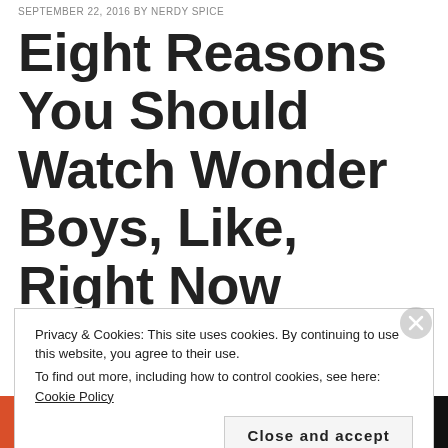SEPTEMBER 22, 2016 by NERDY SPICE
Eight Reasons You Should Watch Wonder Boys, Like, Right Now
MOVIES
Privacy & Cookies: This site uses cookies. By continuing to use this website, you agree to their use.
To find out more, including how to control cookies, see here: Cookie Policy
Close and accept